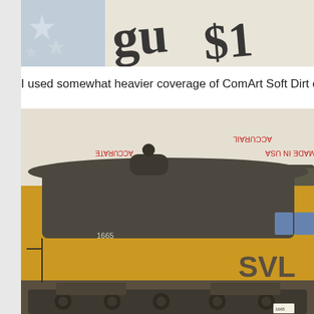[Figure (photo): Top portion of a photo showing stars decoration on blue/gray background with partial text visible, cropped at top]
I used somewhat heavier coverage of ComArt Soft Dirt on the E
[Figure (photo): Model train locomotive numbered 1665 with SVL markings, painted in yellow and dark gray/olive weathered paint, with Accurail box visible in background]